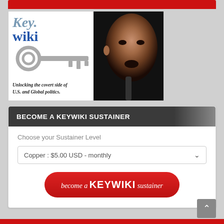[Figure (logo): KeyWiki banner with key logo and tagline 'Unlocking the covert side of U.S. and Global politics.' with a photo of Barack Obama on the right side]
BECOME A KEYWIKI SUSTAINER
Choose your Sustainer Level
Copper : $5.00 USD - monthly
[Figure (screenshot): Red rounded button with text 'become a KEYWIKI sustainer']